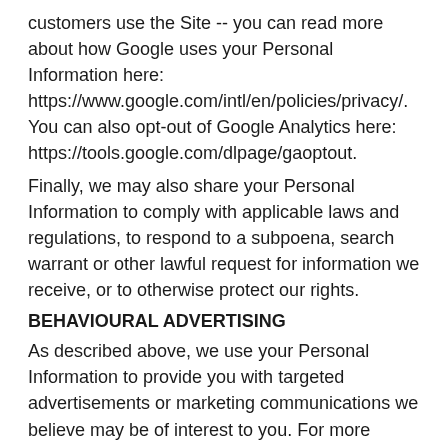customers use the Site -- you can read more about how Google uses your Personal Information here: https://www.google.com/intl/en/policies/privacy/. You can also opt-out of Google Analytics here: https://tools.google.com/dlpage/gaoptout.
Finally, we may also share your Personal Information to comply with applicable laws and regulations, to respond to a subpoena, search warrant or other lawful request for information we receive, or to otherwise protect our rights.
BEHAVIOURAL ADVERTISING
As described above, we use your Personal Information to provide you with targeted advertisements or marketing communications we believe may be of interest to you. For more information about how targeted advertising works, you can visit the Network Advertising Initiative's (“NAI”) educational page at http://www.networkadvertising.org/understanding